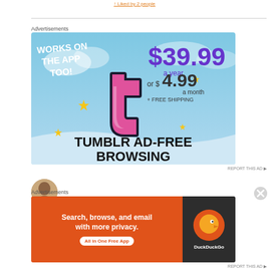↑ Liked by 2 people
[Figure (infographic): Tumblr Ad-Free Browsing advertisement banner. Blue sky background with Tumblr 't' logo in pink/purple. Text: WORKS ON THE APP TOO! $39.99 a year or $4.99 a month + FREE SHIPPING. TUMBLR AD-FREE BROWSING.]
REPORT THIS AD ▶
[Figure (infographic): DuckDuckGo advertisement: 'Search, browse, and email with more privacy. All in One Free App' on orange background, with DuckDuckGo duck logo on dark background.]
REPORT THIS AD ▶